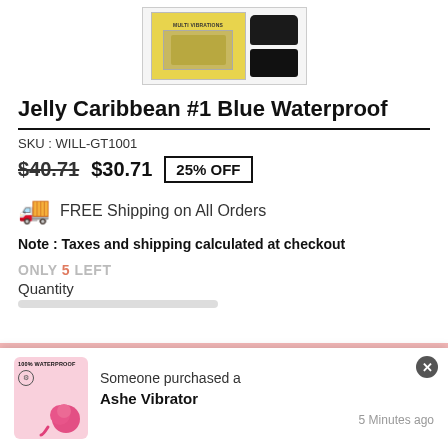[Figure (photo): Product photo of Jelly Caribbean #1 Blue Waterproof item showing packaging with yellow label and dark accessory]
Jelly Caribbean #1 Blue Waterproof
SKU : WILL-GT1001
$40.71  $30.71  25% OFF
FREE Shipping on All Orders
Note : Taxes and shipping calculated at checkout
ONLY 5 LEFT
Quantity
— 1 +  ADD TO CART
Someone purchased a
Ashe Vibrator
5 Minutes ago